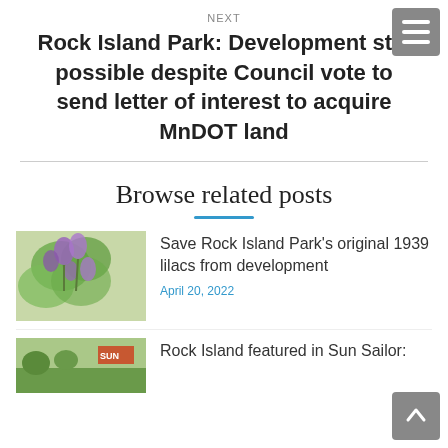NEXT
Rock Island Park: Development still possible despite Council vote to send letter of interest to acquire MnDOT land
Browse related posts
[Figure (photo): Photo of lilac flowers blooming on green leafy shrub]
Save Rock Island Park's original 1939 lilacs from development
April 20, 2022
[Figure (photo): Photo of a park or outdoor space, partially visible at bottom]
Rock Island featured in Sun Sailor: